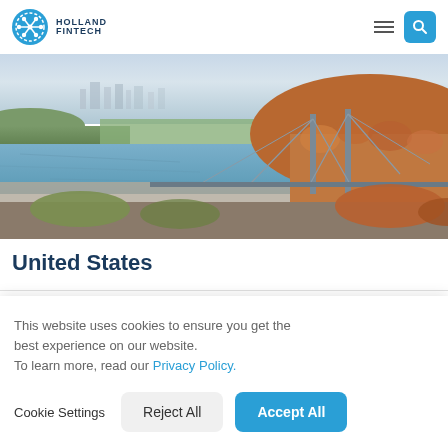Holland Fintech
[Figure (photo): Aerial view of a suspension bridge over a wide river with forested hills and a city skyline in the background on a hazy day.]
United States
This website uses cookies to ensure you get the best experience on our website.
To learn more, read our Privacy Policy.
Cookie Settings   Reject All   Accept All